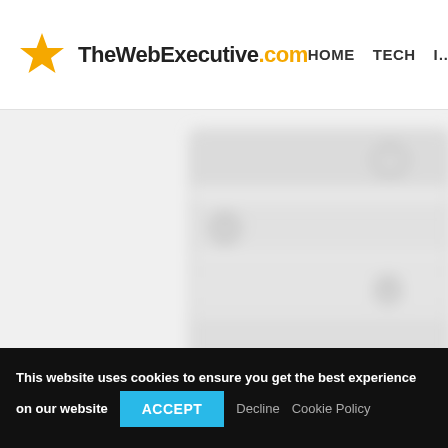TheWebExecutive.com   HOME   TECH   I...
[Figure (photo): Blurred photo of a white desktop computer tower/NAS device with circular power buttons and drive bays, on a light grey background]
Technigadgets Photo Desk, Desk inspiration, Desk setup
This website uses cookies to ensure you get the best experience on our website   ACCEPT   Decline   Cookie Policy